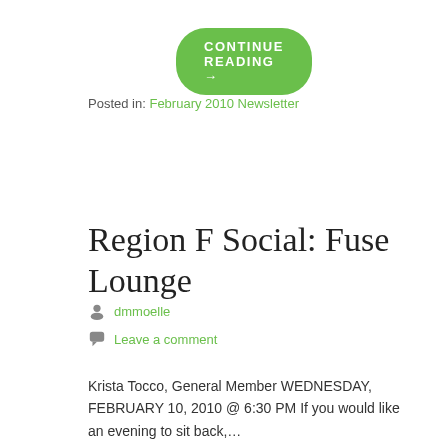[Figure (other): Green rounded button with text 'CONTINUE READING →']
Posted in: February 2010 Newsletter
Region F Social: Fuse Lounge
dmmoelle
Leave a comment
Krista Tocco, General Member WEDNESDAY, FEBRUARY 10, 2010 @ 6:30 PM If you would like an evening to sit back,…